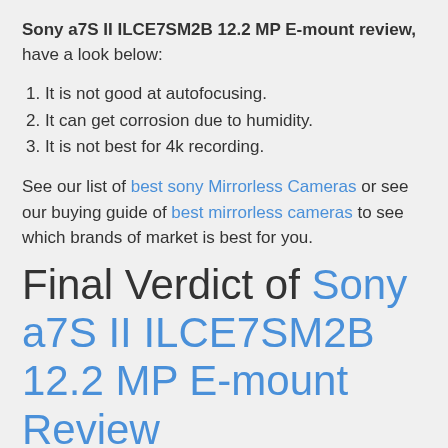Sony a7S II ILCE7SM2B 12.2 MP E-mount review, have a look below:
1. It is not good at autofocusing.
2. It can get corrosion due to humidity.
3. It is not best for 4k recording.
See our list of best sony Mirrorless Cameras or see our buying guide of best mirrorless cameras to see which brands of market is best for you.
Final Verdict of Sony a7S II ILCE7SM2B 12.2 MP E-mount Review
Sony a7S II ILCE7SM2B 12.2 MP E-mount review gives a clear idea that why it is one of the amazing cameras. Here in this...